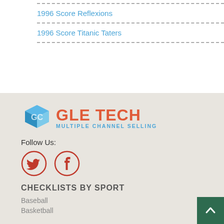1996 Score Reflexions
1996 Score Titanic Taters
[Figure (logo): GLE TECH Multiple Channel Selling logo with a blue cube icon on the left and red text GLE TECH with blue subtitle MULTIPLE CHANNEL SELLING]
Follow Us:
[Figure (illustration): Twitter and Facebook social media icons in red circles]
CHECKLISTS BY SPORT
Baseball
Basketball